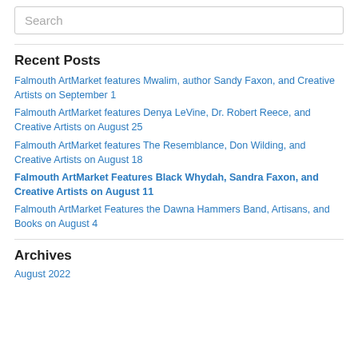Search
Recent Posts
Falmouth ArtMarket features Mwalim, author Sandy Faxon, and Creative Artists on September 1
Falmouth ArtMarket features Denya LeVine, Dr. Robert Reece, and Creative Artists on August 25
Falmouth ArtMarket features The Resemblance, Don Wilding, and Creative Artists on August 18
Falmouth ArtMarket Features Black Whydah, Sandra Faxon, and Creative Artists on August 11
Falmouth ArtMarket Features the Dawna Hammers Band, Artisans, and Books on August 4
Archives
August 2022